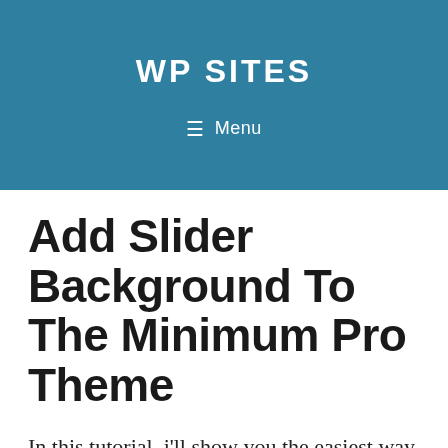WP SITES
≡ Menu
Add Slider Background To The Minimum Pro Theme
In this tutorial, i'll show you the easiest way to replace the default background image in the new